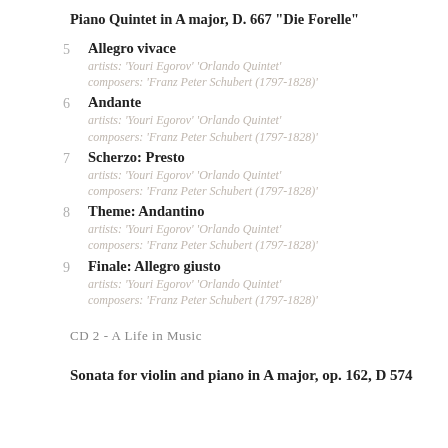Piano Quintet in A major, D. 667 "Die Forelle"
5
Allegro vivace
artists: 'Youri Egorov' 'Orlando Quintet'
composers: 'Franz Peter Schubert (1797-1828)'
6
Andante
artists: 'Youri Egorov' 'Orlando Quintet'
composers: 'Franz Peter Schubert (1797-1828)'
7
Scherzo: Presto
artists: 'Youri Egorov' 'Orlando Quintet'
composers: 'Franz Peter Schubert (1797-1828)'
8
Theme: Andantino
artists: 'Youri Egorov' 'Orlando Quintet'
composers: 'Franz Peter Schubert (1797-1828)'
9
Finale: Allegro giusto
artists: 'Youri Egorov' 'Orlando Quintet'
composers: 'Franz Peter Schubert (1797-1828)'
CD 2 - A Life in Music
Sonata for violin and piano in A major, op. 162, D 574